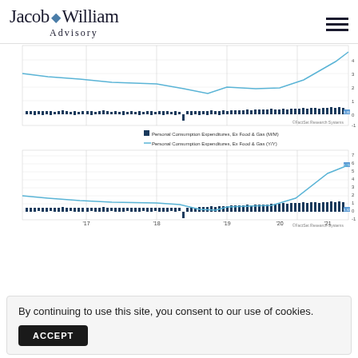Jacob William Advisory
[Figure (continuous-plot): Two stacked time-series charts showing Personal Consumption Expenditures Ex Food & Gas from 2017 to 2021. Top chart: bar series (M/M) near zero with a line (Y/Y) declining from ~2.8 to ~1.5 then rising sharply to ~4. Bottom chart: similar bar series (M/M) near zero with a line (Y/Y) declining from ~1.7 to ~1.2 then rising sharply to ~5.21. Both charts sourced from FactSet Research Systems.]
Personal Consumption Expenditures, Ex Food & Gas (M/M)
Personal Consumption Expenditures, Ex Food & Gas (Y/Y)
By continuing to use this site, you consent to our use of cookies.